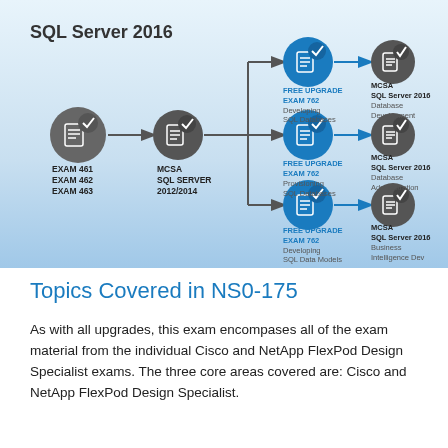[Figure (flowchart): SQL Server 2016 certification upgrade path flowchart showing EXAM 461/462/463 leading to MCSA SQL Server 2012/2014, then branching into three paths via FREE UPGRADE EXAM 762: Developing SQL Databases leads to MCSA SQL Server 2016 Database Development; Provisioning SQL Databases leads to MCSA SQL Server 2016 Database Administration; Developing SQL Data Models leads to MCSA SQL Server 2016 Business Intelligence Dev.]
Topics Covered in NS0-175
As with all upgrades, this exam encompases all of the exam material from the individual Cisco and NetApp FlexPod Design Specialist exams. The three core areas covered are: Cisco and NetApp FlexPod Design Specialist.